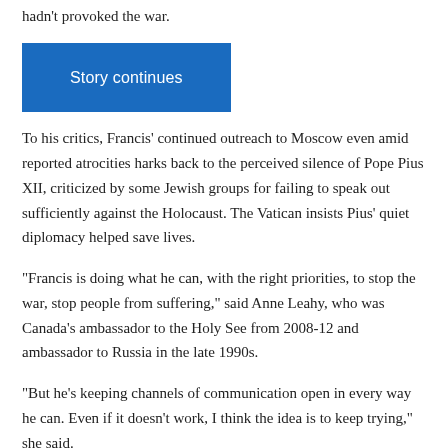hadn't provoked the war.
[Figure (other): Blue 'Story continues' button]
To his critics, Francis' continued outreach to Moscow even amid reported atrocities harks back to the perceived silence of Pope Pius XII, criticized by some Jewish groups for failing to speak out sufficiently against the Holocaust. The Vatican insists Pius' quiet diplomacy helped save lives.
“Francis is doing what he can, with the right priorities, to stop the war, stop people from suffering,” said Anne Leahy, who was Canada’s ambassador to the Holy See from 2008-12 and ambassador to Russia in the late 1990s.
“But he’s keeping channels of communication open in every way he can. Even if it doesn’t work, I think the idea is to keep trying,” she said.